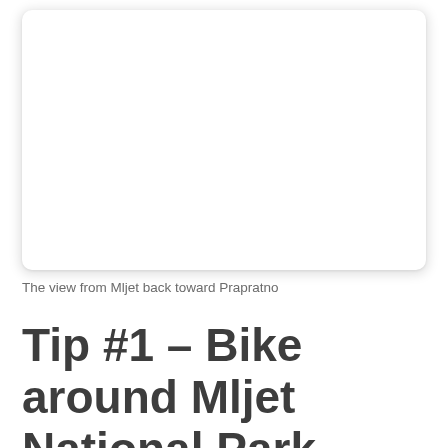[Figure (photo): A white/blank photo placeholder showing the view from Mljet back toward Prapratno, displayed as a white rectangle with rounded corners and a shadow.]
The view from Mljet back toward Prapratno
Tip #1 – Bike around Mljet National Park